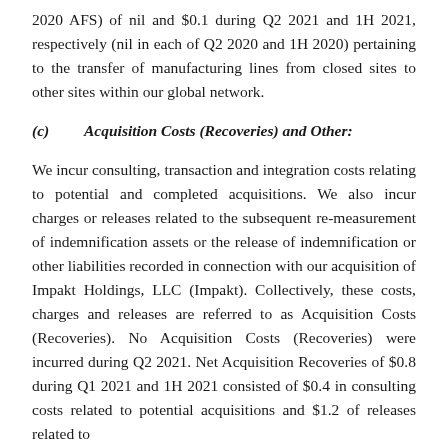2020 AFS) of nil and $0.1 during Q2 2021 and 1H 2021, respectively (nil in each of Q2 2020 and 1H 2020) pertaining to the transfer of manufacturing lines from closed sites to other sites within our global network.
(c)      Acquisition Costs (Recoveries) and Other:
We incur consulting, transaction and integration costs relating to potential and completed acquisitions. We also incur charges or releases related to the subsequent re-measurement of indemnification assets or the release of indemnification or other liabilities recorded in connection with our acquisition of Impakt Holdings, LLC (Impakt). Collectively, these costs, charges and releases are referred to as Acquisition Costs (Recoveries). No Acquisition Costs (Recoveries) were incurred during Q2 2021. Net Acquisition Recoveries of $0.8 during Q1 2021 and 1H 2021 consisted of $0.4 in consulting costs related to potential acquisitions and $1.2 of releases related to